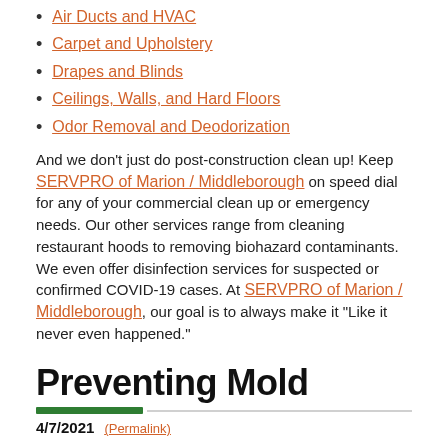Air Ducts and HVAC
Carpet and Upholstery
Drapes and Blinds
Ceilings, Walls, and Hard Floors
Odor Removal and Deodorization
And we don't just do post-construction clean up! Keep SERVPRO of Marion / Middleborough on speed dial for any of your commercial clean up or emergency needs. Our other services range from cleaning restaurant hoods to removing biohazard contaminants. We even offer disinfection services for suspected or confirmed COVID-19 cases. At SERVPRO of Marion / Middleborough, our goal is to always make it “Like it never even happened.”
Preventing Mold
4/7/2021 (Permalink)
Nobody wants mold in their home or business and a mold problem can be tricky to foresee. There are many